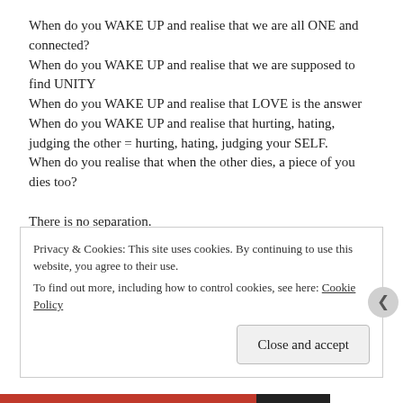When do you WAKE UP and realise that we are all ONE and connected?
When do you WAKE UP and realise that we are supposed to find UNITY
When do you WAKE UP and realise that LOVE is the answer
When do you WAKE UP and realise that hurting, hating, judging the other = hurting, hating, judging your SELF.
When do you realise that when the other dies, a piece of you dies too?
There is no separation.
It was all a lie
Privacy & Cookies: This site uses cookies. By continuing to use this website, you agree to their use.
To find out more, including how to control cookies, see here: Cookie Policy
Close and accept